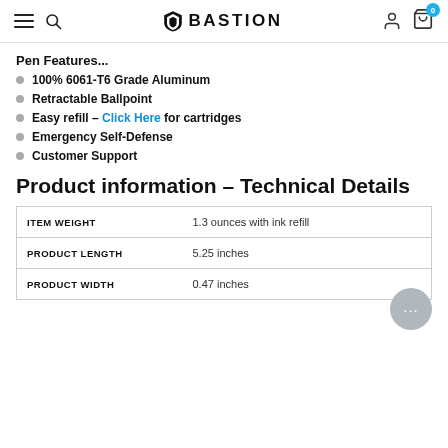BASTION
Pen Features...
100% 6061-T6 Grade Aluminum
Retractable Ballpoint
Easy refill - Click Here for cartridges
Emergency Self-Defense
Customer Support
Product information – Technical Details
|  |  |
| --- | --- |
| ITEM WEIGHT | 1.3 ounces with ink refill |
| PRODUCT LENGTH | 5.25 inches |
| PRODUCT WIDTH | 0.47 inches |